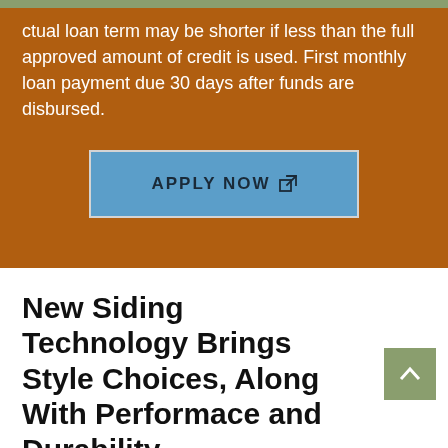ctual loan term may be shorter if less than the full approved amount of credit is used. First monthly loan payment due 30 days after funds are disbursed.
[Figure (other): Apply Now button with external link icon on brown background]
New Siding Technology Brings Style Choices, Along With Performace and Durability
Today's siding offers homeowners more color and style options than ever before. Also, technical advances to